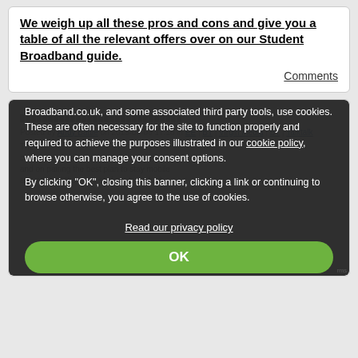We weigh up all these pros and cons and give you a table of all the relevant offers over on our Student Broadband guide.
Comments
Broadband.co.uk, and some associated third party tools, use cookies. These are often necessary for the site to function properly and required to achieve the purposes illustrated in our cookie policy, where you can manage your consent options.

By clicking "OK", closing this banner, clicking a link or continuing to browse otherwise, you agree to the use of cookies.
Read our privacy policy
OK